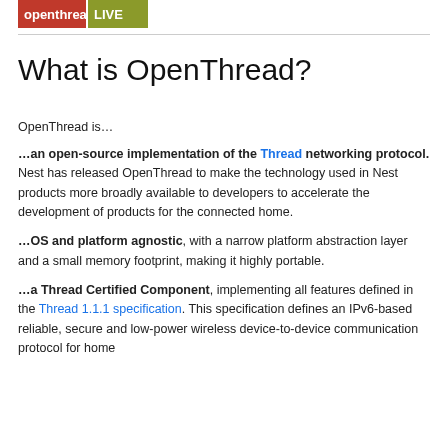[Figure (logo): OpenThread logo with red and olive/green color blocks and white text]
What is OpenThread?
OpenThread is…
…an open-source implementation of the Thread networking protocol. Nest has released OpenThread to make the technology used in Nest products more broadly available to developers to accelerate the development of products for the connected home.
…OS and platform agnostic, with a narrow platform abstraction layer and a small memory footprint, making it highly portable.
…a Thread Certified Component, implementing all features defined in the Thread 1.1.1 specification. This specification defines an IPv6-based reliable, secure and low-power wireless device-to-device communication protocol for home